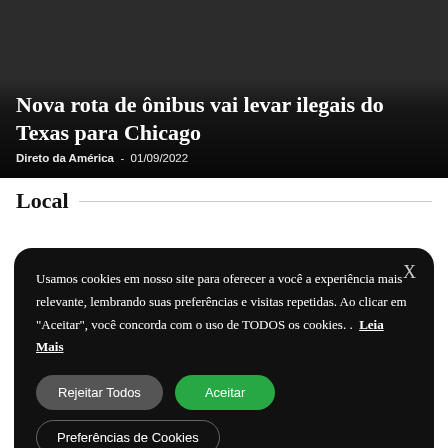[Figure (photo): Dark background hero image showing people silhouettes with a news article overlay]
Nova rota de ônibus vai levar ilegais do Texas para Chicago
Direto da América - 01/09/2022
Local
Usamos cookies em nosso site para oferecer a você a experiência mais relevante, lembrando suas preferências e visitas repetidas. Ao clicar em "Aceitar", você concorda com o uso de TODOS os cookies. .  Leia Mais
Rejeitar Todos | Aceitar | Preferências de Cookies